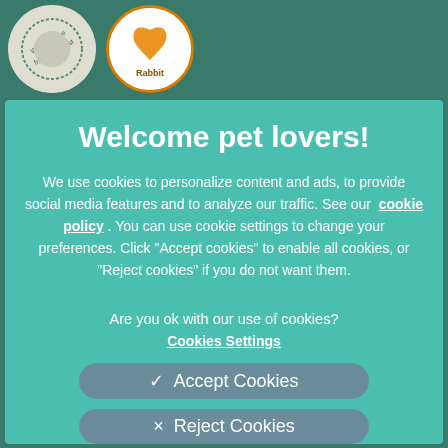[Figure (screenshot): Top strip showing partial website logos — a circular badge with text 'We're on the friendly vet list' and a rabbit-themed badge with text 'Rabbit' — on a dark teal/green background.]
Welcome pet lovers!
We use cookies to personalize content and ads, to provide social media features and to analyze our traffic. See our  cookie policy . You can use cookie settings to change your preferences. Click "Accept cookies" to enable all cookies, or "Reject cookies" if you do not want them.
Are you ok with our use of cookies?
Cookies Settings
✓  Accept Cookies
×  Reject Cookies